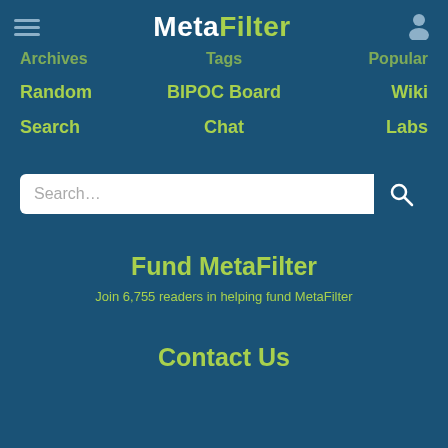MetaFilter
Archives
Tags
Popular
Random
BIPOC Board
Wiki
Search
Chat
Labs
Search...
Fund MetaFilter
Join 6,755 readers in helping fund MetaFilter
Contact Us